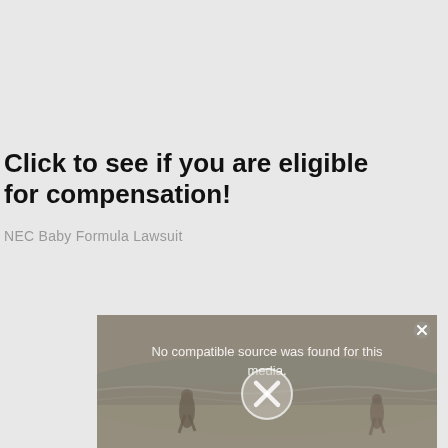Click to see if you are eligible for compensation!
NEC Baby Formula Lawsuit
[Figure (screenshot): Video player with error message 'No compatible source was found for this media.' overlaid on a beach scene with people running on the sand. A large X icon appears in the center and a close button in the top-right corner.]